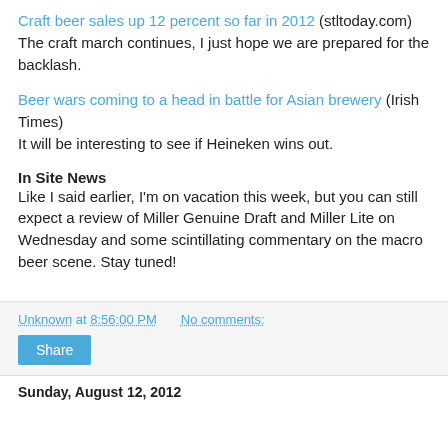Craft beer sales up 12 percent so far in 2012 (stltoday.com) The craft march continues, I just hope we are prepared for the backlash.
Beer wars coming to a head in battle for Asian brewery (Irish Times) It will be interesting to see if Heineken wins out.
In Site News
Like I said earlier, I'm on vacation this week, but you can still expect a review of Miller Genuine Draft and Miller Lite on Wednesday and some scintillating commentary on the macro beer scene. Stay tuned!
Unknown at 8:56:00 PM   No comments:
Sunday, August 12, 2012